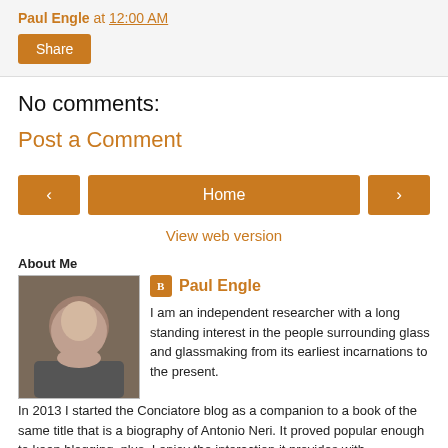Paul Engle at 12:00 AM
Share
No comments:
Post a Comment
‹
Home
›
View web version
About Me
Paul Engle
I am an independent researcher with a long standing interest in the people surrounding glass and glassmaking from its earliest incarnations to the present. In 2013 I started the Conciatore blog as a companion to a book of the same title that is a biography of Antonio Neri. It proved popular enough to keep blogging, plus, I enjoy the interaction it provides with